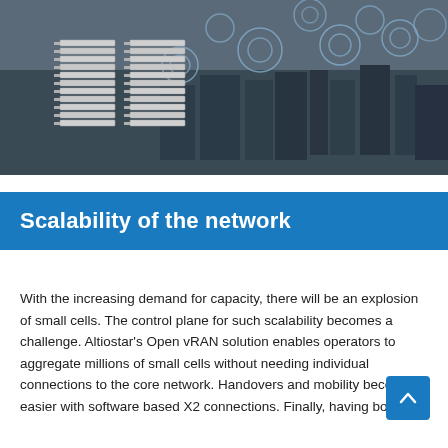[Figure (photo): Aerial cityscape photo showing urban buildings and rooftops with wireless network antenna/dish overlays. Two stacked server or hardware units visible on the left side in the foreground.]
Scalability of the network
With the increasing demand for capacity, there will be an explosion of small cells. The control plane for such scalability becomes a challenge. Altiostar's Open vRAN solution enables operators to aggregate millions of small cells without needing individual connections to the core network. Handovers and mobility become easier with software based X2 connections. Finally, having both the